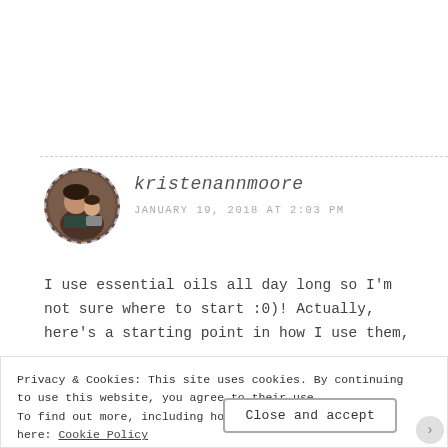[Figure (photo): Circular avatar photo of a woman with a child, dashed border, brown tones]
kristenannmoore
JANUARY 19, 2018 AT 2:03 PM
I use essential oils all day long so I'm not sure where to start :0)! Actually, here's a starting point in how I use them,
Privacy & Cookies: This site uses cookies. By continuing to use this website, you agree to their use.
To find out more, including how to control cookies, see here: Cookie Policy
Close and accept